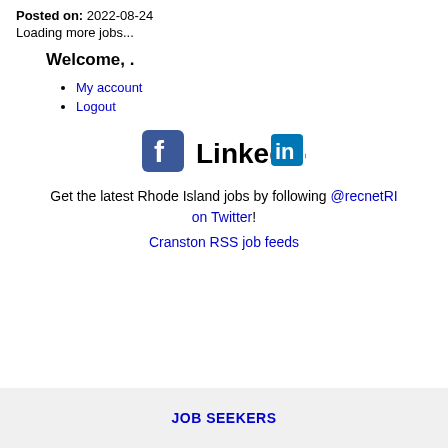Posted on: 2022-08-24
Loading more jobs...
Welcome, .
My account
Logout
[Figure (logo): Facebook and LinkedIn social media icons]
Get the latest Rhode Island jobs by following @recnetRI on Twitter!
Cranston RSS job feeds
JOB SEEKERS